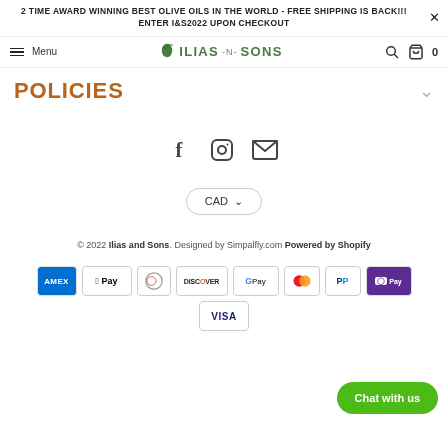2 TIME AWARD WINNING BEST OLIVE OILS IN THE WORLD - FREE SHIPPING IS BACK!!! ENTER I&S2022 UPON CHECKOUT
[Figure (screenshot): Navigation bar with hamburger menu, Ilias-N-Sons logo with olive leaf icon, search icon, bag icon and cart count 0]
POLICIES
[Figure (infographic): Social media icons: Facebook (f), Instagram (circle camera), Email (envelope)]
CAD ∨
© 2022 Ilias and Sons. Designed by Simpalfly.com Powered by Shopify
[Figure (infographic): Payment method icons: American Express, Apple Pay, Diners Club, Discover, Google Pay, Mastercard, PayPal, Shop Pay, Visa]
Chat with us